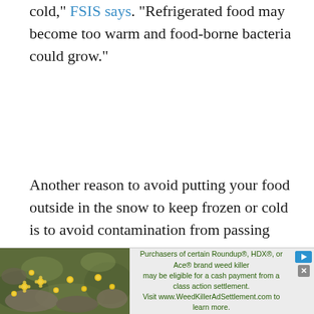cold," FSIS says. "Refrigerated food may become too warm and food-borne bacteria could grow."
Another reason to avoid putting your food outside in the snow to keep frozen or cold is to avoid contamination from passing animals.
"Perishable items could be exposed to unsanitary conditions or to animals. Animals may harbor bacteria or disease; never consume food that has come in contact with
[Figure (other): Advertisement banner: image of yellow flowers on rocky ground on the left, text reading 'Purchasers of certain Roundup®, HDX®, or Ace® brand weed killer may be eligible for a cash payment from a class action settlement. Visit www.WeedKillerAdSettlement.com to learn more.' with play and close buttons on the right.]